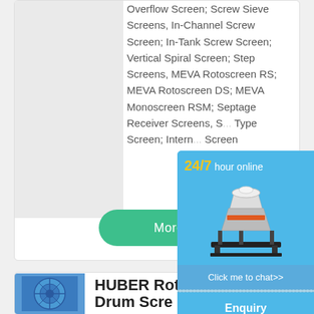Overflow Screen; Screw Sieve Screens, In-Channel Screw Screen; In-Tank Screw Screen; Vertical Spiral Screen; Step Screens, MEVA Rotoscreen RS; MEVA Rotoscreen DS; MEVA Monoscreen RSM; Septage Receiver Screens, S... Type Screen; Intern... Screen
[Figure (illustration): 24/7 hour online service widget with a cone crusher machine illustration, 'Click me to chat>>' button, 'Enquiry' section, and email address at bottom]
[Figure (photo): Photo of a blue HUBER Rotary Drum Screen industrial equipment]
HUBER Rotary Drum Screen